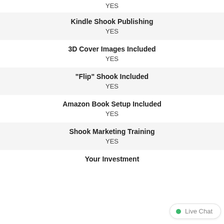YES
Kindle Shook Publishing
YES
3D Cover Images Included
YES
"Flip" Shook Included
YES
Amazon Book Setup Included
YES
Shook Marketing Training
YES
Your Investment